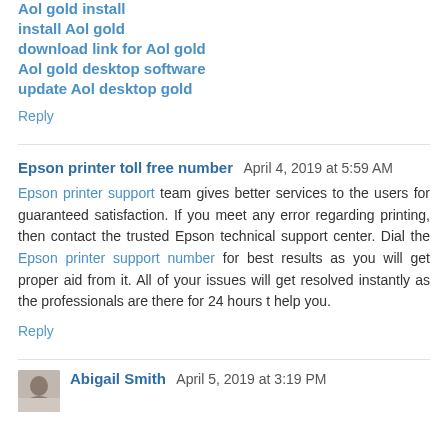Aol gold install
install Aol gold
download link for Aol gold
Aol gold desktop software
update Aol desktop gold
Reply
Epson printer toll free number  April 4, 2019 at 5:59 AM
Epson printer support team gives better services to the users for guaranteed satisfaction. If you meet any error regarding printing, then contact the trusted Epson technical support center. Dial the Epson printer support number for best results as you will get proper aid from it. All of your issues will get resolved instantly as the professionals are there for 24 hours t help you.
Reply
Abigail Smith  April 5, 2019 at 3:19 PM